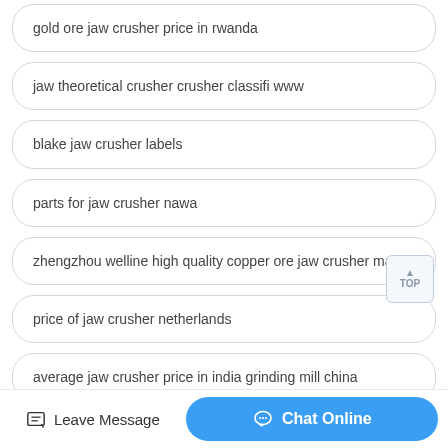gold ore jaw crusher price in rwanda
jaw theoretical crusher crusher classifi www
blake jaw crusher labels
parts for jaw crusher nawa
zhengzhou welline high quality copper ore jaw crusher ma...
price of jaw crusher netherlands
average jaw crusher price in india grinding mill china
Leave Message  |  Chat Online